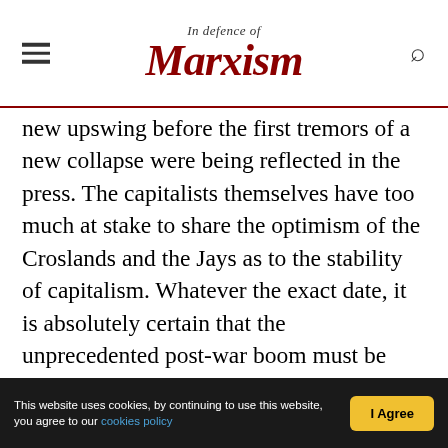In Defence of Marxism
new upswing before the first tremors of a new collapse were being reflected in the press. The capitalists themselves have too much at stake to share the optimism of the Croslands and the Jays as to the stability of capitalism. Whatever the exact date, it is absolutely certain that the unprecedented post-war boom must be followed by a period of catastrophic downswing, which cannot but have a profound effect on the political thinking of the enormously strengthened ranks of the labour movement.
This website uses cookies, by continuing to use this website, you agree to our cookies policy | I Agree